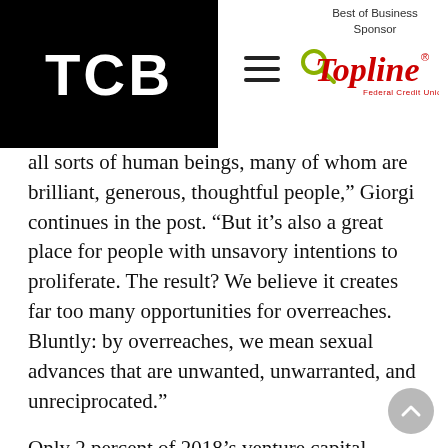TCB | Best of Business Sponsor | TopLine Federal Credit Union
all sorts of human beings, many of whom are brilliant, generous, thoughtful people,” Giorgi continues in the post. “But it’s also a great place for people with unsavory intentions to proliferate. The result? We believe it creates far too many opportunities for overreaches. Bluntly: by overreaches, we mean sexual advances that are unwanted, unwarranted, and unreciprocated.”
Only 2 percent of 2018’s venture capital dollars went to female founders, according to Fortune magazine, and less than 2 percent of female founded businesses will get venture backing this year. Some critics of the Candor Clause say it could further worsen the odds for